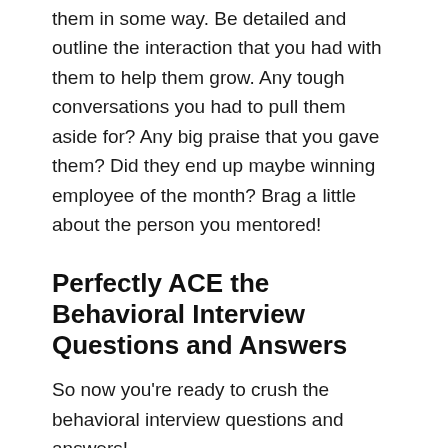them in some way. Be detailed and outline the interaction that you had with them to help them grow. Any tough conversations you had to pull them aside for? Any big praise that you gave them? Did they end up maybe winning employee of the month? Brag a little about the person you mentored!
Perfectly ACE the Behavioral Interview Questions and Answers
So now you're ready to crush the behavioral interview questions and answers!
Lets go through and do a quick recap…